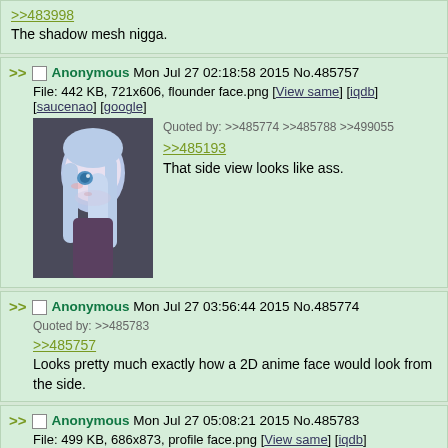>>483998
The shadow mesh nigga.
>> Anonymous Mon Jul 27 02:18:58 2015 No.485757
File: 442 KB, 721x606, flounder face.png [View same] [iqdb] [saucenao] [google]
[Figure (photo): Anime character with long light blue hair viewed from side angle, 3D render]
Quoted by: >>485774 >>485788 >>499055
>>485193
That side view looks like ass.
>> Anonymous Mon Jul 27 03:56:44 2015 No.485774
Quoted by: >>485783
>>485757
Looks pretty much exactly how a 2D anime face would look from the side.
>> Anonymous Mon Jul 27 05:08:21 2015 No.485783
File: 499 KB, 686x873, profile face.png [View same] [iqdb] [saucenao] [google]
Quoted by: >>485788 >>488328